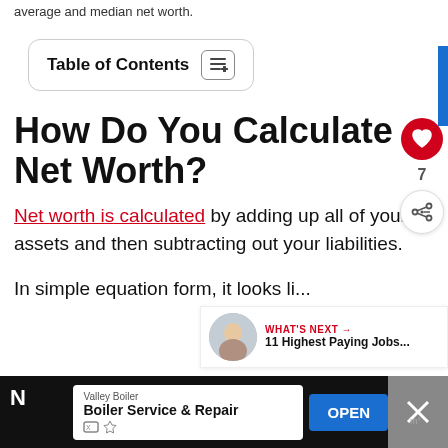average and median net worth.
Table of Contents
How Do You Calculate Net Worth?
Net worth is calculated by adding up all of your assets and then subtracting out your liabilities.
In simple equation form, it looks li...